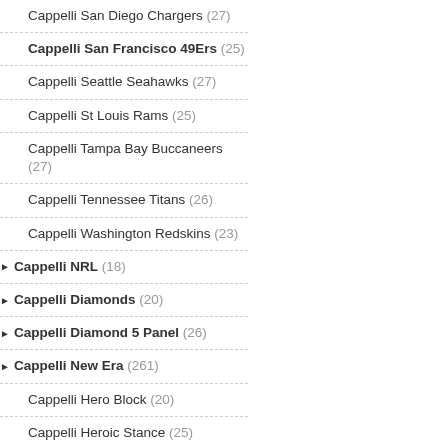Cappelli San Diego Chargers (27)
Cappelli San Francisco 49Ers (25)
Cappelli Seattle Seahawks (27)
Cappelli St Louis Rams (25)
Cappelli Tampa Bay Buccaneers (27)
Cappelli Tennessee Titans (26)
Cappelli Washington Redskins (23)
Cappelli NRL (18)
Cappelli Diamonds (20)
Cappelli Diamond 5 Panel (26)
Cappelli New Era (261)
Cappelli Hero Block (20)
Cappelli Heroic Stance (25)
Cappelli MLB (27)